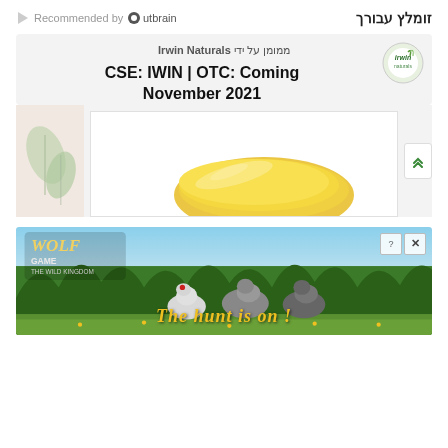Recommended by Outbrain | זומלץ עבורך
[Figure (screenshot): Irwin Naturals advertisement card with text 'ממומן על ידי Irwin Naturals' and 'CSE: IWIN | OTC: Coming November 2021' with Irwin Naturals logo, and a yellow supplement capsule image below]
[Figure (screenshot): Wolf Game - The Wild Kingdom mobile game advertisement showing wolves in a forest scene with text 'THE HUNT IS ON!']